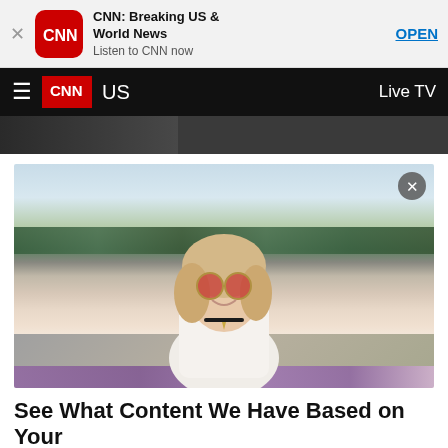[Figure (screenshot): CNN app install banner with CNN logo icon, app title 'CNN: Breaking US & World News', subtitle 'Listen to CNN now', and OPEN button]
CNN  US  Live TV
[Figure (photo): Advertisement photo of a smiling young woman with blonde hair, wearing round red-tinted sunglasses, a white lace top and a choker necklace, outdoors with trees and purple flowers in background. Close button in top right corner.]
See What Content We Have Based on Your